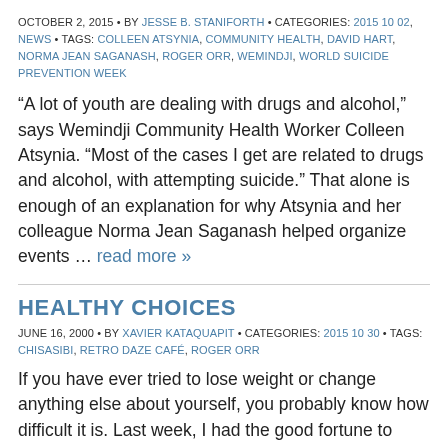OCTOBER 2, 2015 • BY JESSE B. STANIFORTH • CATEGORIES: 2015 10 02, NEWS • TAGS: COLLEEN ATSYNIA, COMMUNITY HEALTH, DAVID HART, NORMA JEAN SAGANASH, ROGER ORR, WEMINDJI, WORLD SUICIDE PREVENTION WEEK
“A lot of youth are dealing with drugs and alcohol,” says Wemindji Community Health Worker Colleen Atsynia. “Most of the cases I get are related to drugs and alcohol, with attempting suicide.” That alone is enough of an explanation for why Atsynia and her colleague Norma Jean Saganash helped organize events … read more »
HEALTHY CHOICES
JUNE 16, 2000 • BY XAVIER KATAQUAPIT • CATEGORIES: 2015 10 30 • TAGS: CHISASIBI, RETRO DAZE CAFÉ, ROGER ORR
If you have ever tried to lose weight or change anything else about yourself, you probably know how difficult it is. Last week, I had the good fortune to meet up with a friend of mine, Jennifer McLeod, health director at